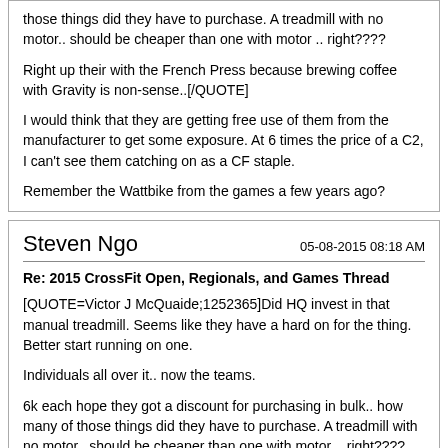those things did they have to purchase. A treadmill with no motor.. should be cheaper than one with motor .. right????

Right up their with the French Press because brewing coffee with Gravity is non-sense..[/QUOTE]

I would think that they are getting free use of them from the manufacturer to get some exposure. At 6 times the price of a C2, I can't see them catching on as a CF staple.

Remember the Wattbike from the games a few years ago?
Steven Ngo
05-08-2015 08:18 AM
Re: 2015 CrossFit Open, Regionals, and Games Thread
[QUOTE=Victor J McQuaide;1252365]Did HQ invest in that manual treadmill. Seems like they have a hard on for the thing. Better start running on one.

Individuals all over it.. now the teams.

6k each hope they got a discount for purchasing in bulk.. how many of those things did they have to purchase. A treadmill with no motor.. should be cheaper than one with motor .. right????

Right up their with the French Press because brewing coffee with Gravity is non-sense..[/QUOTE]